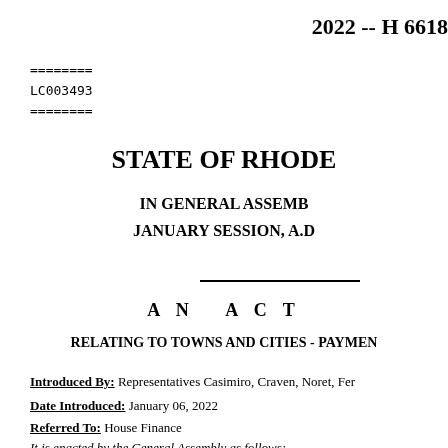2022 -- H 6618
========
LC003493
========
STATE OF RHODE
IN GENERAL ASSEMB
JANUARY SESSION, A.D
A N  A C T
RELATING TO TOWNS AND CITIES - PAYMEN
Introduced By: Representatives Casimiro, Craven, Noret, Fer
Date Introduced: January 06, 2022
Referred To: House Finance
It is enacted by the General Assembly as follows: